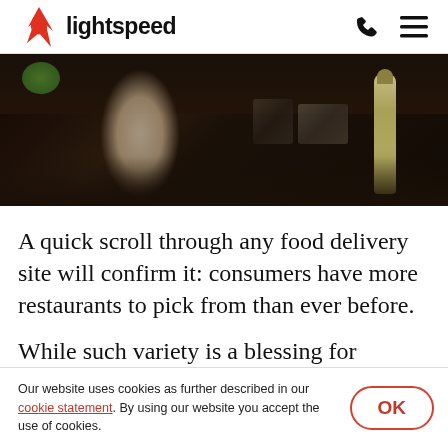lightspeed
[Figure (photo): A restaurant kitchen scene showing a person working at a dark prep station with metal containers and a squeeze bottle in the foreground, and green herbs in the top left.]
A quick scroll through any food delivery site will confirm it: consumers have more restaurants to pick from than ever before.
While such variety is a blessing for foodies,
Our website uses cookies as further described in our cookie statement. By using our website you accept the use of cookies.